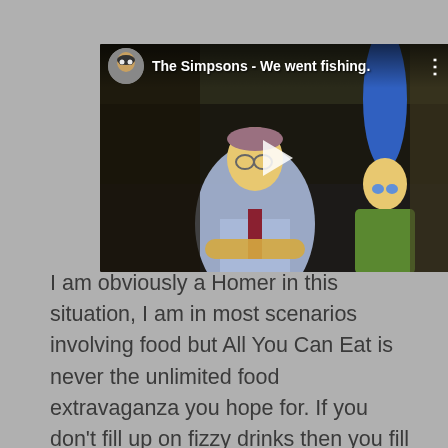[Figure (screenshot): A YouTube video thumbnail showing The Simpsons characters - a man in a blue suit with arms crossed and Marge Simpson, with a play button overlay. The video header shows 'The Simpsons - We went fishing.' with an avatar icon.]
I am obviously a Homer in this situation, I am in most scenarios involving food but All You Can Eat is never the unlimited food extravaganza you hope for. If you don't fill up on fizzy drinks then you fill up on carbs and yes, there will be a blog about perfect buffet etiquette (send me your tips) and after the second